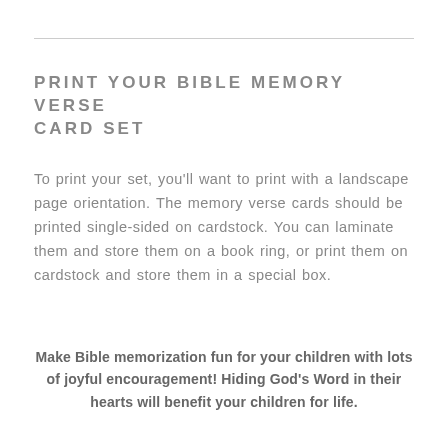PRINT YOUR BIBLE MEMORY VERSE CARD SET
To print your set, you'll want to print with a landscape page orientation. The memory verse cards should be printed single-sided on cardstock. You can laminate them and store them on a book ring, or print them on cardstock and store them in a special box.
Make Bible memorization fun for your children with lots of joyful encouragement! Hiding God's Word in their hearts will benefit your children for life.